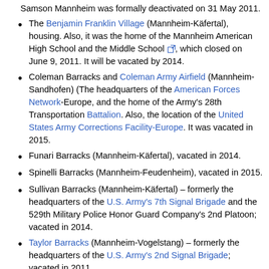Samson Mannheim was formally deactivated on 31 May 2011.
The Benjamin Franklin Village (Mannheim-Käfertal), housing. Also, it was the home of the Mannheim American High School and the Middle School [ext], which closed on June 9, 2011. It will be vacated by 2014.
Coleman Barracks and Coleman Army Airfield (Mannheim-Sandhofen) (The headquarters of the American Forces Network-Europe, and the home of the Army's 28th Transportation Battalion. Also, the location of the United States Army Corrections Facility-Europe. It was vacated in 2015.
Funari Barracks (Mannheim-Käfertal), vacated in 2014.
Spinelli Barracks (Mannheim-Feudenheim), vacated in 2015.
Sullivan Barracks (Mannheim-Käfertal) – formerly the headquarters of the U.S. Army's 7th Signal Brigade and the 529th Military Police Honor Guard Company's 2nd Platoon; vacated in 2014.
Taylor Barracks (Mannheim-Vogelstang) – formerly the headquarters of the U.S. Army's 2nd Signal Brigade; vacated in 2011.
Turley Barracks (Mannheim-Käfertal) in the early 1990s was